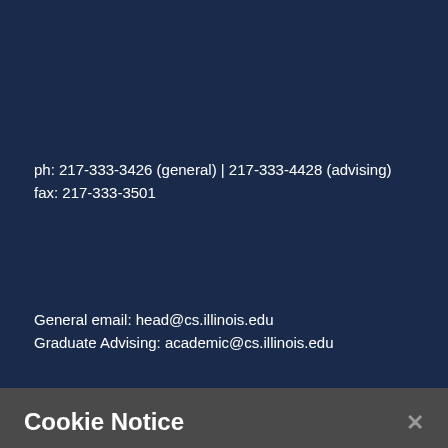ph: 217-333-3426 (general) | 217-333-4428 (advising)
fax: 217-333-3501
General email: head@cs.illinois.edu
Graduate Advising: academic@cs.illinois.edu
Cookie Notice
We use Cookies on this site to enhance your experience and improve our marketing efforts. Click on “About Cookies” to learn more. By continuing to browse without changing your browser settings to block or delete Cookies, you agree to the storing of Cookies and related technologies on your device. University of Illinois System Cookie Policy